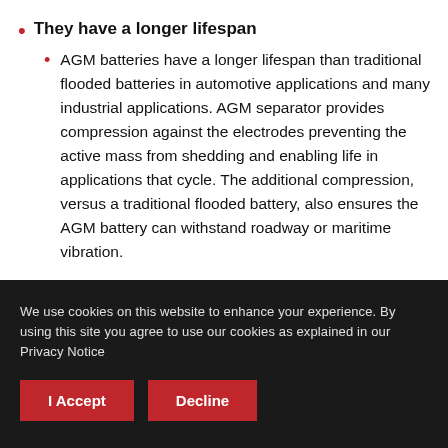They have a longer lifespan
AGM batteries have a longer lifespan than traditional flooded batteries in automotive applications and many industrial applications. AGM separator provides compression against the electrodes preventing the active mass from shedding and enabling life in applications that cycle. The additional compression, versus a traditional flooded battery, also ensures the AGM battery can withstand roadway or maritime vibration.
We use cookies on this website to enhance your experience. By using this site you agree to use our cookies as explained in our Privacy Notice